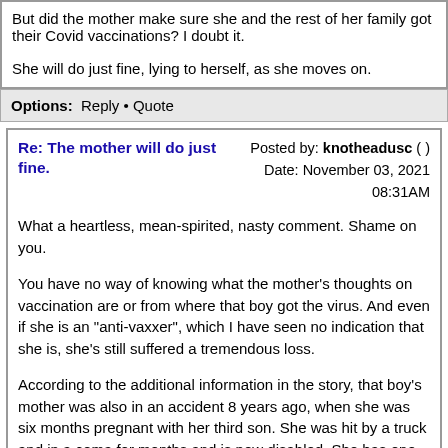But did the mother make sure she and the rest of her family got their Covid vaccinations? I doubt it.

She will do just fine, lying to herself, as she moves on.
Options: Reply • Quote
Re: The mother will do just fine.
Posted by: knotheadusc ( )
Date: November 03, 2021 08:31AM
What a heartless, mean-spirited, nasty comment. Shame on you.
You have no way of knowing what the mother's thoughts on vaccination are or from where that boy got the virus. And even if she is an "anti-vaxxer", which I have seen no indication that she is, she's still suffered a tremendous loss.
According to the additional information in the story, that boy's mother was also in an accident 8 years ago, when she was six months pregnant with her third son. She was hit by a truck and in a coma for months and is now disabled. She has one son left. Can you imagine the trauma that child is going to have to live with after this? And the mom, I'm sure, will not "do just fine", after losing